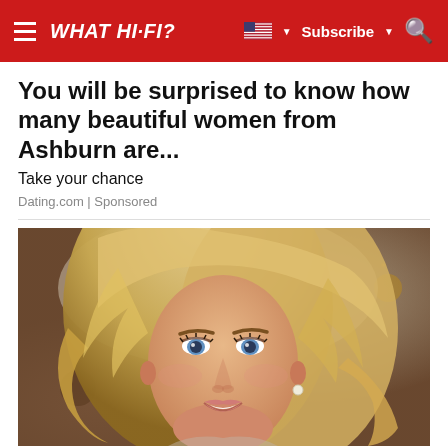WHAT HI-FI?  Subscribe
You will be surprised to know how many beautiful women from Ashburn are...
Take your chance
Dating.com | Sponsored
[Figure (photo): Close-up portrait of a smiling young blonde woman with curly hair, blue eyes, wearing a pearl earring, warm bokeh background]